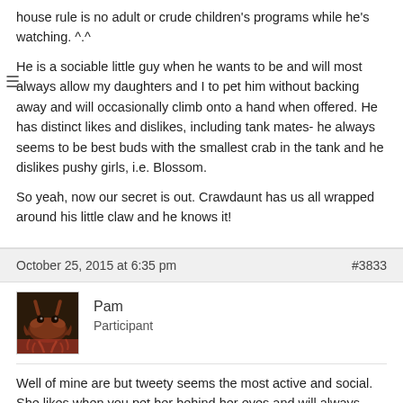house rule is no adult or crude children's programs while he's watching. ^.^
He is a sociable little guy when he wants to be and will most always allow my daughters and I to pet him without backing away and will occasionally climb onto a hand when offered. He has distinct likes and dislikes, including tank mates- he always seems to be best buds with the smallest crab in the tank and he dislikes pushy girls, i.e. Blossom.

So yeah, now our secret is out. Crawdaunt has us all wrapped around his little claw and he knows it!
October 25, 2015 at 6:35 pm
#3833
[Figure (photo): Avatar image of a crab/crustacean, reddish coloring on dark background]
Pam
Participant
Well of mine are but tweety seems the most active and social. She likes when you pet her behind her eyes and will always come far out of her shell when I pick her up.

She is the most active too, always climbing around.